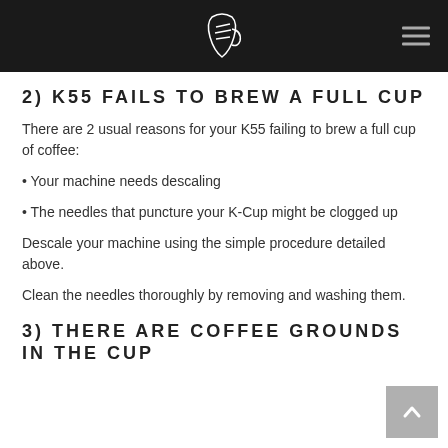2) K55 FAILS TO BREW A FULL CUP
There are 2 usual reasons for your K55 failing to brew a full cup of coffee:
• Your machine needs descaling
• The needles that puncture your K-Cup might be clogged up
Descale your machine using the simple procedure detailed above.
Clean the needles thoroughly by removing and washing them.
3) THERE ARE COFFEE GROUNDS IN THE CUP